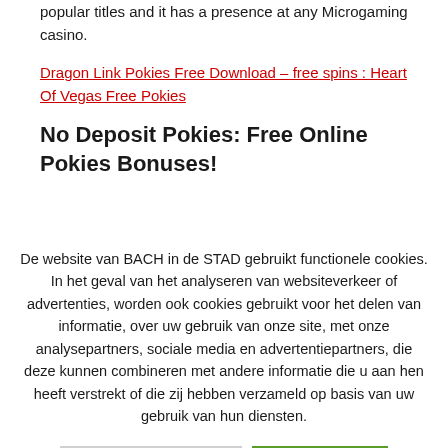popular titles and it has a presence at any Microgaming casino.
Dragon Link Pokies Free Download – free spins : Heart Of Vegas Free Pokies
No Deposit Pokies: Free Online Pokies Bonuses!
De website van BACH in de STAD gebruikt functionele cookies. In het geval van het analyseren van websiteverkeer of advertenties, worden ook cookies gebruikt voor het delen van informatie, over uw gebruik van onze site, met onze analysepartners, sociale media en advertentiepartners, die deze kunnen combineren met andere informatie die u aan hen heeft verstrekt of die zij hebben verzameld op basis van uw gebruik van hun diensten.
Cookie instellingen
Aanvaarden